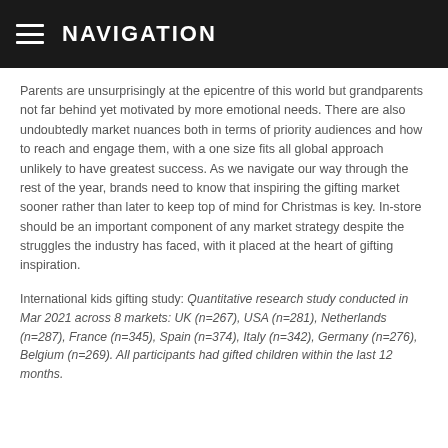NAVIGATION
Parents are unsurprisingly at the epicentre of this world but grandparents not far behind yet motivated by more emotional needs. There are also undoubtedly market nuances both in terms of priority audiences and how to reach and engage them, with a one size fits all global approach unlikely to have greatest success. As we navigate our way through the rest of the year, brands need to know that inspiring the gifting market sooner rather than later to keep top of mind for Christmas is key. In-store should be an important component of any market strategy despite the struggles the industry has faced, with it placed at the heart of gifting inspiration.
International kids gifting study: Quantitative research study conducted in Mar 2021 across 8 markets: UK (n=267), USA (n=281), Netherlands (n=287), France (n=345), Spain (n=374), Italy (n=342), Germany (n=276), Belgium (n=269). All participants had gifted children within the last 12 months.